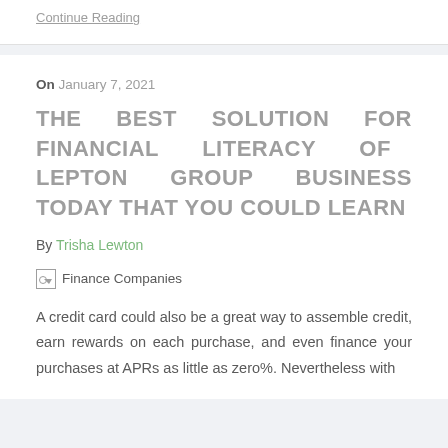Continue Reading
On January 7, 2021
THE BEST SOLUTION FOR FINANCIAL LITERACY OF LEPTON GROUP BUSINESS TODAY THAT YOU COULD LEARN
By Trisha Lewton
[Figure (photo): Finance Companies image placeholder (broken image icon with alt text 'Finance Companies')]
A credit card could also be a great way to assemble credit, earn rewards on each purchase, and even finance your purchases at APRs as little as zero%. Nevertheless with